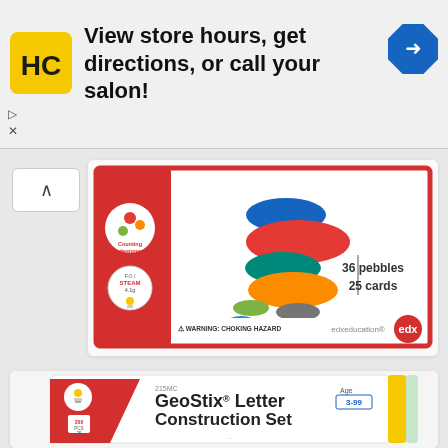[Figure (screenshot): Advertisement banner for Hair Club (HC logo) with text 'View store hours, get directions, or call your salon!' and a blue navigation arrow icon on the right]
[Figure (photo): Product box for edx education pebbles set: 36 pebbles, 25 cards. Shows colorful stacked pebbles on the packaging.]
[Figure (photo): Product box for GeoStix Letter Construction Set, age 3-99, showing stick figure letters and construction outlines on the box.]